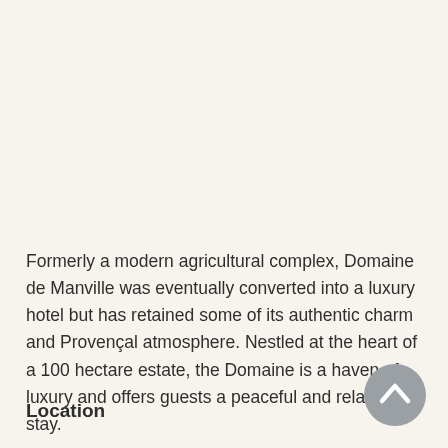Formerly a modern agricultural complex, Domaine de Manville was eventually converted into a luxury hotel but has retained some of its authentic charm and Provençal atmosphere. Nestled at the heart of a 100 hectare estate, the Domaine is a haven of luxury and offers guests a peaceful and relaxing stay.
Location
[Figure (other): Circular grey scroll-to-top button with upward-pointing chevron/caret arrow icon]